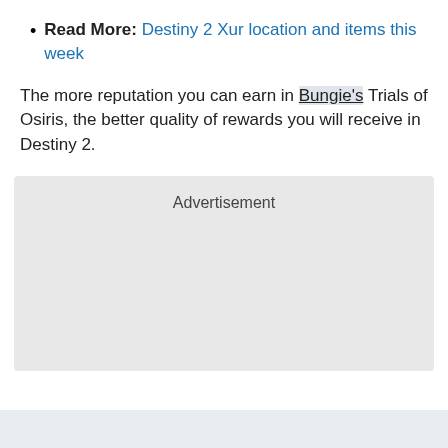Read More: Destiny 2 Xur location and items this week
The more reputation you can earn in Bungie's Trials of Osiris, the better quality of rewards you will receive in Destiny 2.
[Figure (other): Advertisement placeholder box with light gray background]